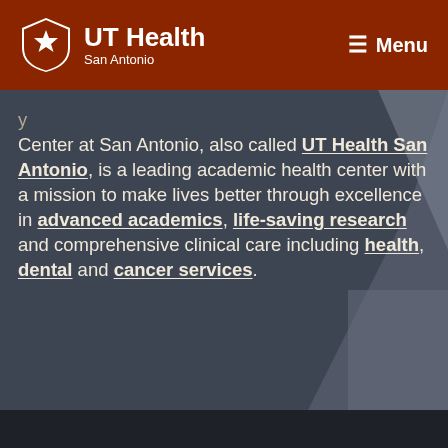UT Health San Antonio | Menu
Center at San Antonio, also called UT Health San Antonio, is a leading academic health center with a mission to make lives better through excellence in advanced academics, life-saving research and comprehensive clinical care including health, dental and cancer services.